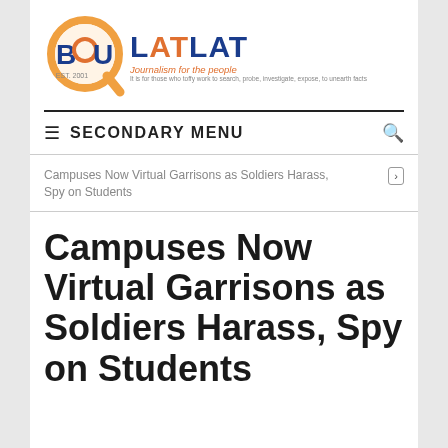[Figure (logo): Bulatlat logo with magnifying glass graphic and text 'BULATLAT - Journalism for the people']
SECONDARY MENU
Campuses Now Virtual Garrisons as Soldiers Harass, Spy on Students
Campuses Now Virtual Garrisons as Soldiers Harass, Spy on Students